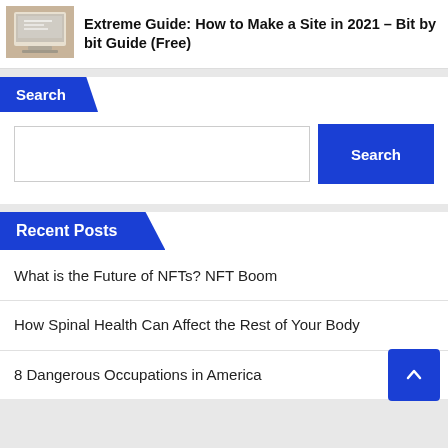[Figure (photo): Laptop on a wooden desk]
Extreme Guide: How to Make a Site in 2021 – Bit by bit Guide (Free)
Search
[Figure (screenshot): Search input field and Search button]
Recent Posts
What is the Future of NFTs? NFT Boom
How Spinal Health Can Affect the Rest of Your Body
8 Dangerous Occupations in America